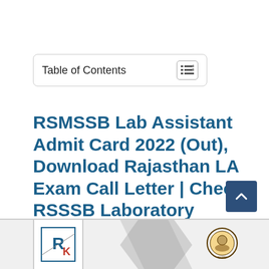Table of Contents
RSMSSB Lab Assistant Admit Card 2022 (Out), Download Rajasthan LA Exam Call Letter | Check RSSSB Laboratory Assistant Hall Ticket link @ www.rsmssb.rajasthan.gov.in
[Figure (logo): RK logo box at bottom left with diagonal stripe and Rajasthan government emblem]